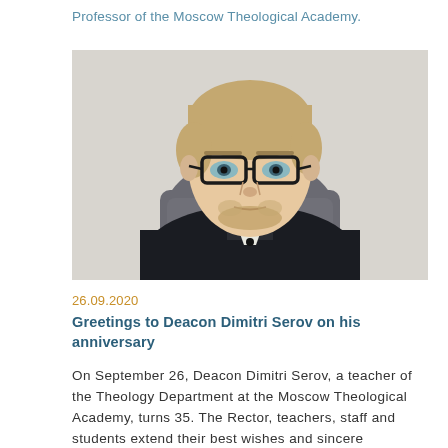Professor of the Moscow Theological Academy.
[Figure (photo): Portrait photo of a young man with blonde hair, glasses, and a beard, wearing a dark clerical jacket, seated in a grey office chair against a light background.]
26.09.2020
Greetings to Deacon Dimitri Serov on his anniversary
On September 26, Deacon Dimitri Serov, a teacher of the Theology Department at the Moscow Theological Academy, turns 35. The Rector, teachers, staff and students extend their best wishes and sincere congratulations